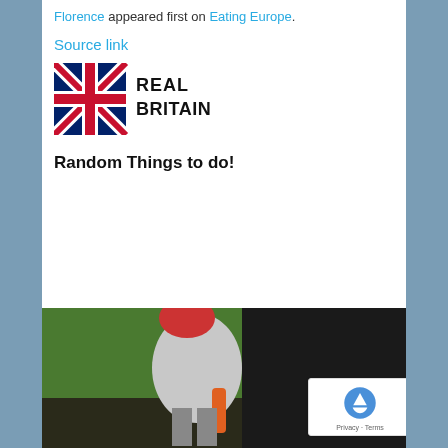Florence appeared first on Eating Europe.
Source link
[Figure (logo): Real Britain logo with Union Jack flag graphic and text 'REAL BRITAIN']
Random Things to do!
[Figure (photo): A person performing at what appears to be an indoor sports or entertainment venue, holding an object, blurred background with green and dark areas]